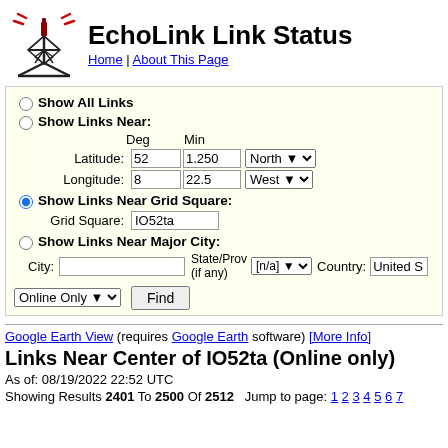EchoLink Link Status
Home | About This Page
Show All Links
Show Links Near:
Latitude: 52 deg 1.250 min North
Longitude: 8 deg 22.5 min West
Show Links Near Grid Square:
Grid Square: IO52ta
Show Links Near Major City:
City: State/Prov (if any) [n/a] Country: United S
Online Only Find
Google Earth View (requires Google Earth software) [More Info]
Links Near Center of IO52ta (Online only)
As of: 08/19/2022 22:52 UTC
Showing Results 2401 To 2500 Of 2512   Jump to page: 1 2 3 4 5 6 7